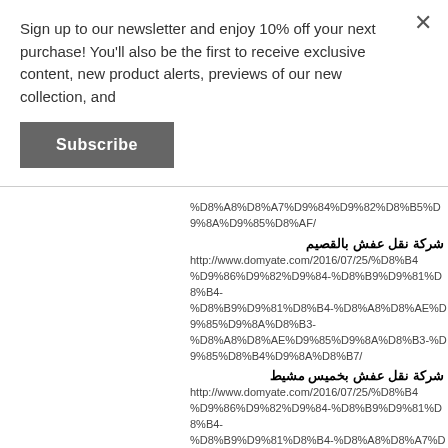Sign up to our newsletter and enjoy 10% off your next purchase! You'll also be the first to receive exclusive content, new product alerts, previews of our new collection, and
Subscribe
%D8%A8%D8%A7%D9%84%D9%82%D8%B5%D
شركة نقل عفش بالقصيم
http://www.domyate.com/2016/07/25/%D8%B4-%D9%86%D9%82%D9%84-%D8%B9%D9%81%D8%B4-%D8%A8%D8%AE%D9%85%D9%8A%D8%B3-%D9%85%D8%B4%D9%8A%D8%B7/
شركة نقل عفش بخميس مشيط
http://www.domyate.com/2016/07/25/%D8%B4-%D9%86%D9%82%D9%84-%D8%B9%D9%81%D8%B4-%D8%A8%D8%A7%D8%A8%D9%87%D8%A7/
شركة نقل عفش بابها
http://www.domyate.com/2016/07/23/%D8%B4